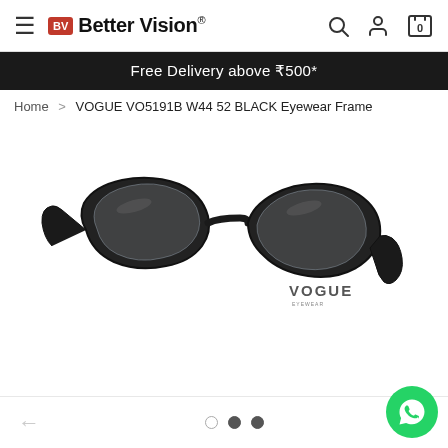Better Vision® — navigation header with hamburger menu, logo, search, account, and cart icons
Free Delivery above ₹500*
Home > VOGUE VO5191B W44 52 BLACK Eyewear Frame
[Figure (photo): Black Vogue VO5191B W44 52 eyewear frame (cat-eye style) with VOGUE branding on the right temple, photographed front-facing on white background]
Navigation: left arrow, carousel dots (empty, filled, filled), right arrow; WhatsApp contact button